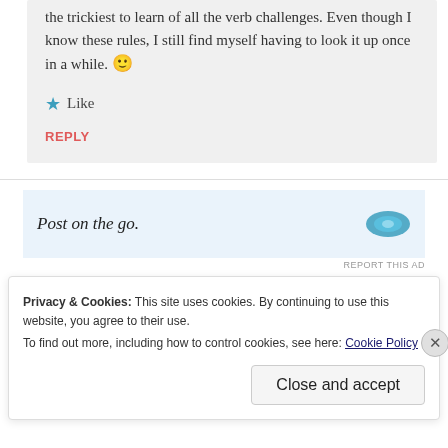the trickiest to learn of all the verb challenges. Even though I know these rules, I still find myself having to look it up once in a while. 🙂
★ Like
REPLY
[Figure (screenshot): Advertisement banner with text 'Post on the go.' and a logo on the right, with 'REPORT THIS AD' text below]
Privacy & Cookies: This site uses cookies. By continuing to use this website, you agree to their use. To find out more, including how to control cookies, see here: Cookie Policy
Close and accept